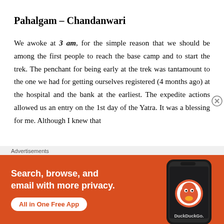Pahalgam – Chandanwari
We awoke at 3 am, for the simple reason that we should be among the first people to reach the base camp and to start the trek. The penchant for being early at the trek was tantamount to the one we had for getting ourselves registered (4 months ago) at the hospital and the bank at the earliest. The expedite actions allowed us an entry on the 1st day of the Yatra. It was a blessing for me. Although I knew that
[Figure (other): DuckDuckGo advertisement banner with orange background. Text: 'Search, browse, and email with more privacy. All in One Free App'. Shows a phone with DuckDuckGo logo.]